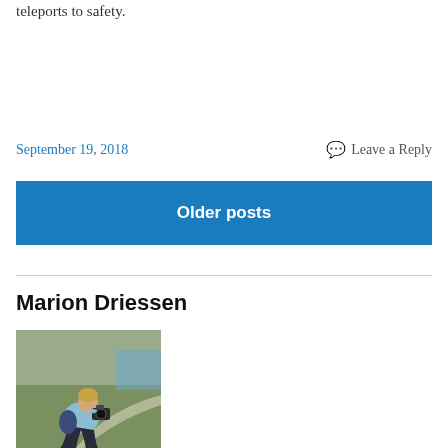teleports to safety.
September 19, 2018
Leave a Reply
Older posts
Marion Driessen
[Figure (photo): A person sitting on grass outdoors, crouching down and using a camera, wearing a light blue jacket and dark pants. Green grassy terrain and a path visible in background.]